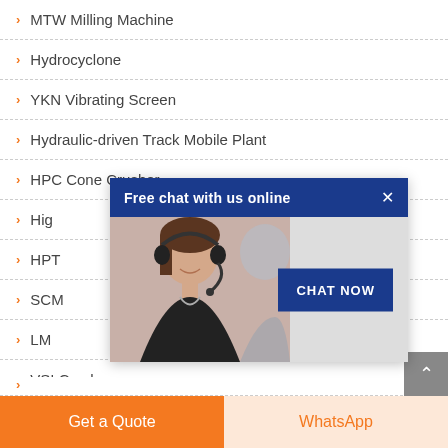MTW Milling Machine
Hydrocyclone
YKN Vibrating Screen
Hydraulic-driven Track Mobile Plant
HPC Cone Crusher
Hig...
HPT...
SCM...
LM...
VSI Crusher
Wharf Belt Conveyor
T130X Reinforced Ultrafine Mill
[Figure (screenshot): Free chat with us online popup with a customer service agent photo and a CHAT NOW button]
Get a Quote
WhatsApp